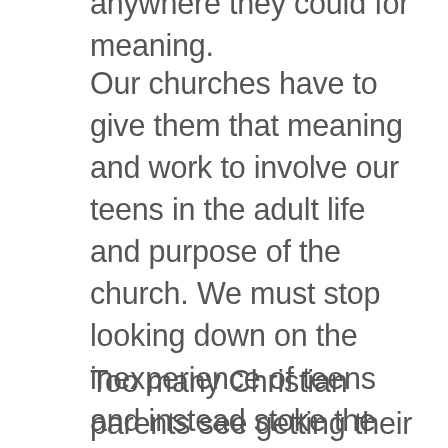anywhere they could for meaning.
Our churches have to give them that meaning and work to involve our teens in the adult life and purpose of the church. We must stop looking down on the inexperience of teens and instead stoke the mission God is giving to each of them. We need to encourage their gifts and get of the way as they use them. When teens feel needed, they are less likely to drift away. Attractional ministry will only hold teens for so long; instead, they need to be integral to the Great Commission.
Too many Christian parents see getting their kids into some elite college as the be-all rite of passage and the only true mission for their kids. We have to rectify that mistaken priority, and that will involve other life-changing...